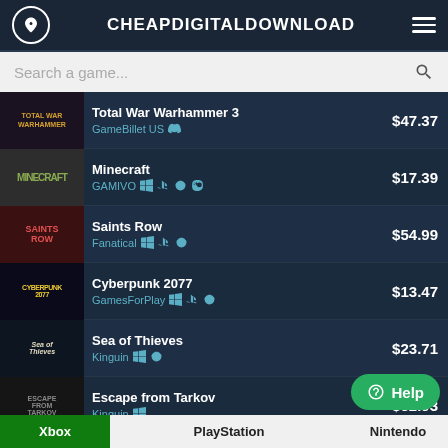CHEAPDIGITALDOWNLOAD
Total War Warhammer 3 | GameBillet US | $47.37
Minecraft | GAMIVO | $17.39
Saints Row | Fanatical | $54.99
Cyberpunk 2077 | GamesForPlay | $13.47
Sea of Thieves | Kinguin | $23.71
Escape from Tarkov | Kinguin | $32.93
FIFA 22 | GAMIVO | $__.29
Xbox | PlayStation | Nintendo